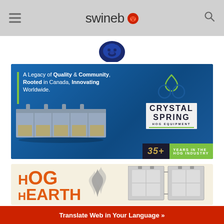swineweb
[Figure (logo): Swineweb logo drop (pig icon in navy/blue circle)]
[Figure (illustration): Crystal Spring Hog Equipment advertisement. Tagline: 'A Legacy of Quality & Community, Rooted in Canada, Innovating Worldwide.' Shows metal hog feeder equipment. Crystal Spring logo with green/blue icon. 35+ YEARS IN THE HOG INDUSTRY badge.]
[Figure (illustration): Hog Hearth advertisement banner showing orange H-og H-earth logo with flame graphic and heating equipment panel.]
Translate Web in Your Language »